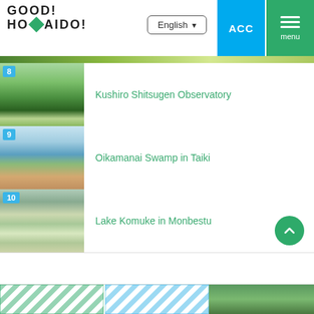GOOD! HOKKAIDO! — navigation header with English language selector, ACC button, and menu
8  Kushiro Shitsugen Observatory
9  Oikamanai Swamp in Taiki
10  Lake Komuke in Monbestu